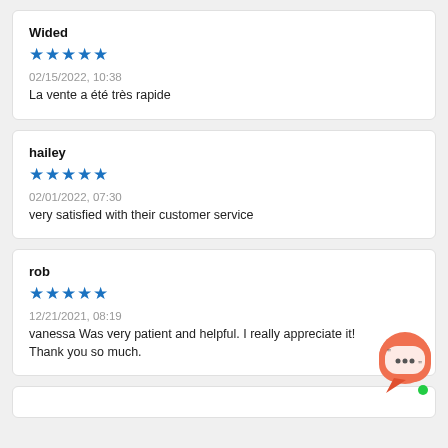Wided
★★★★★
02/15/2022, 10:38
La vente a été très rapide
hailey
★★★★★
02/01/2022, 07:30
very satisfied with their customer service
rob
★★★★★
12/21/2021, 08:19
vanessa Was very patient and helpful. I really appreciate it! Thank you so much.
[Figure (illustration): Chat widget icon with quotation marks and ellipsis, coral/orange colored speech bubble shape with a green dot indicator]